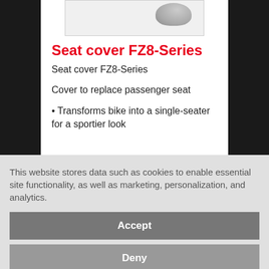[Figure (photo): Partial product image of seat cover at top of page]
Seat cover FZ8-Series
Seat cover FZ8-Series
Cover to replace passenger seat
• Transforms bike into a single-seater for a sportier look
This website stores data such as cookies to enable essential site functionality, as well as marketing, personalization, and analytics.